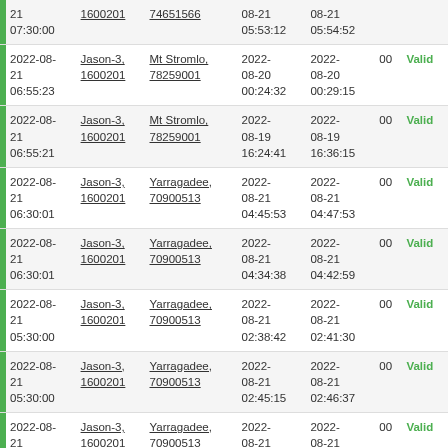|  | Date | Satellite | Station | Start | End | Code | Status |
| --- | --- | --- | --- | --- | --- | --- | --- |
|  | 2022-08-21 07:30:00 | Jason-3, 1600201 | 74651566 | 2022-08-21 05:53:12 | 2022-08-21 05:54:52 |  |  |
|  | 2022-08-21 06:55:23 | Jason-3, 1600201 | Mt Stromlo, 78259001 | 2022-08-20 00:24:32 | 2022-08-20 00:29:15 | 00 | Valid |
|  | 2022-08-21 06:55:21 | Jason-3, 1600201 | Mt Stromlo, 78259001 | 2022-08-19 16:24:41 | 2022-08-19 16:36:15 | 00 | Valid |
|  | 2022-08-21 06:30:01 | Jason-3, 1600201 | Yarragadee, 70900513 | 2022-08-21 04:45:53 | 2022-08-21 04:47:53 | 00 | Valid |
|  | 2022-08-21 06:30:01 | Jason-3, 1600201 | Yarragadee, 70900513 | 2022-08-21 04:34:38 | 2022-08-21 04:42:59 | 00 | Valid |
|  | 2022-08-21 05:30:00 | Jason-3, 1600201 | Yarragadee, 70900513 | 2022-08-21 02:38:42 | 2022-08-21 02:41:30 | 00 | Valid |
|  | 2022-08-21 05:30:00 | Jason-3, 1600201 | Yarragadee, 70900513 | 2022-08-21 02:45:15 | 2022-08-21 02:46:37 | 00 | Valid |
|  | 2022-08-21 05:30:00 | Jason-3, 1600201 | Yarragadee, 70900513 | 2022-08-21 02:42:42 | 2022-08-21 02:43:16 | 00 | Valid |